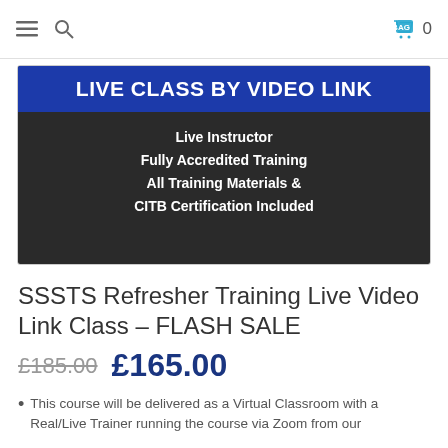Navigation bar with hamburger menu, search icon, shopping cart icon and count 0
[Figure (illustration): Promotional banner for Live Class by Video Link. Blue banner at top reads 'LIVE CLASS BY VIDEO LINK'. Dark background with text: 'Live Instructor / Fully Accredited Training / All Training Materials & CITB Certification Included']
SSSTS Refresher Training Live Video Link Class – FLASH SALE
£185.00  £165.00
This course will be delivered as a Virtual Classroom with a Real/Live Trainer running the course via Zoom from our